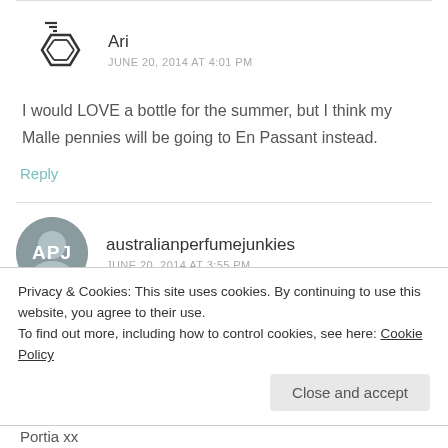Ari
JUNE 20, 2014 AT 4:01 PM
I would LOVE a bottle for the summer, but I think my Malle pennies will be going to En Passant instead.
Reply
australianperfumejunkies
JUNE 20, 2014 AT 3:55 PM
Privacy & Cookies: This site uses cookies. By continuing to use this website, you agree to their use.
To find out more, including how to control cookies, see here: Cookie Policy
Close and accept
Portia xx